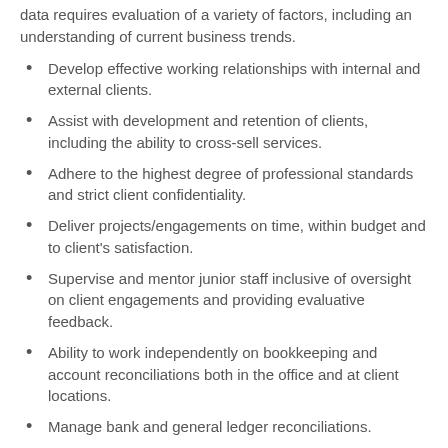data requires evaluation of a variety of factors, including an understanding of current business trends.
Develop effective working relationships with internal and external clients.
Assist with development and retention of clients, including the ability to cross-sell services.
Adhere to the highest degree of professional standards and strict client confidentiality.
Deliver projects/engagements on time, within budget and to client's satisfaction.
Supervise and mentor junior staff inclusive of oversight on client engagements and providing evaluative feedback.
Ability to work independently on bookkeeping and account reconciliations both in the office and at client locations.
Manage bank and general ledger reconciliations.
Perform month end closings.
Required Qualifications:
CPA Certification